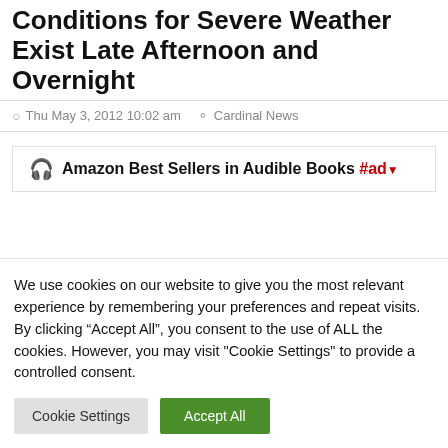Conditions for Severe Weather Exist Late Afternoon and Overnight
Thu May 3, 2012 10:02 am  Cardinal News
[Figure (other): Amazon Best Sellers in Audible Books advertisement banner with headphones icon, #ad label, and dropdown arrow]
We use cookies on our website to give you the most relevant experience by remembering your preferences and repeat visits. By clicking “Accept All”, you consent to the use of ALL the cookies. However, you may visit "Cookie Settings" to provide a controlled consent.